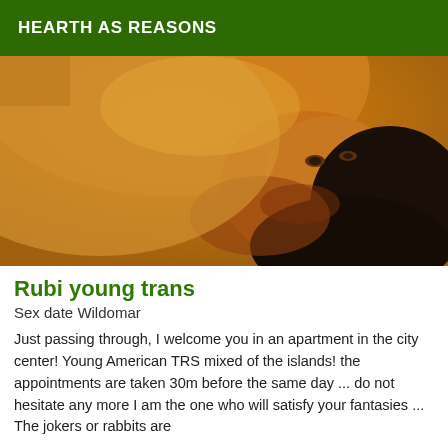HEARTH AS REASONS
[Figure (photo): Close-up photo of a person lying down, shown from the shoulders up, with dark hair, viewed at an angle against a yellow-orange background.]
Rubi young trans
Sex date Wildomar
Just passing through, I welcome you in an apartment in the city center! Young American TRS mixed of the islands! the appointments are taken 30m before the same day ... do not hesitate any more I am the one who will satisfy your fantasies ... The jokers or rabbits are